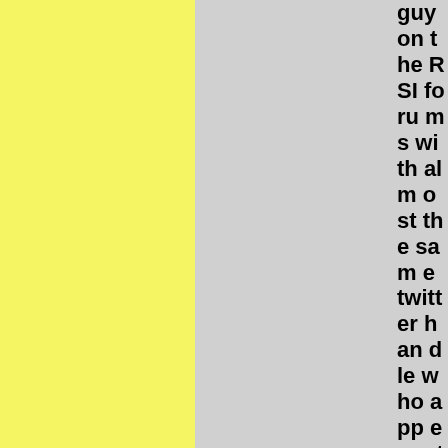[Figure (other): Yellow textured background panel on left side of page]
[Figure (other): Gray background panel in center of page]
guy on the RSI forums with almost the same twitter handle who appears to want to cont